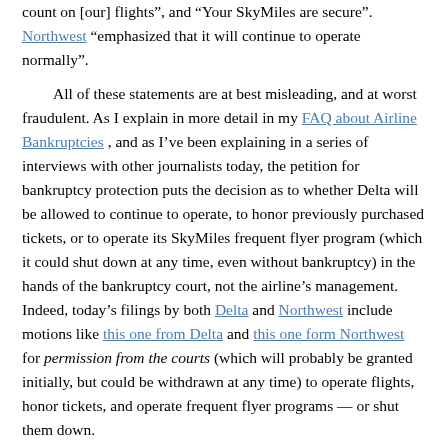count on [our] flights", and "Your SkyMiles are secure". Northwest "emphasized that it will continue to operate normally".
All of these statements are at best misleading, and at worst fraudulent. As I explain in more detail in my FAQ about Airline Bankruptcies , and as I've been explaining in a series of interviews with other journalists today, the petition for bankruptcy protection puts the decision as to whether Delta will be allowed to continue to operate, to honor previously purchased tickets, or to operate its SkyMiles frequent flyer program (which it could shut down at any time, even without bankruptcy) in the hands of the bankruptcy court, not the airline's management. Indeed, today's filings by both Delta and Northwest include motions like this one from Delta and this one form Northwest for permission from the courts (which will probably be granted initially, but could be withdrawn at any time) to operate flights, honor tickets, and operate frequent flyer programs — or shut them down.
Delta: